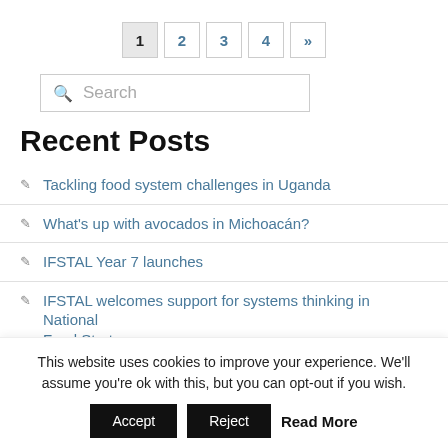1 2 3 4 »
[Figure (other): Search box with magnifying glass icon and placeholder text 'Search']
Recent Posts
Tackling food system challenges in Uganda
What's up with avocados in Michoacán?
IFSTAL Year 7 launches
IFSTAL welcomes support for systems thinking in National Food Strategy
This website uses cookies to improve your experience. We'll assume you're ok with this, but you can opt-out if you wish. Accept Reject Read More